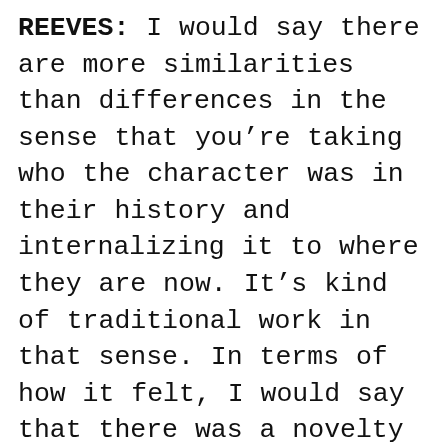REEVES: I would say there are more similarities than differences in the sense that you're taking who the character was in their history and internalizing it to where they are now. It's kind of traditional work in that sense. In terms of how it felt, I would say that there was a novelty to it, because I haven't really had a chance to do that. The only way you could feel that was to have the circumstance of doing it. You know, I would never feel how I felt unless I was doing what I was doing. So it's pretty extraordinary. There's the time machine of it and